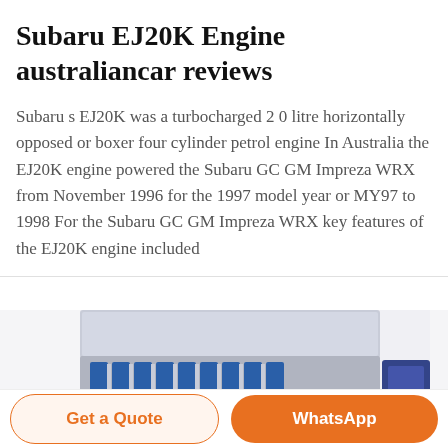Subaru EJ20K Engine australiancar reviews
Subaru s EJ20K was a turbocharged 2 0 litre horizontally opposed or boxer four cylinder petrol engine In Australia the EJ20K engine powered the Subaru GC GM Impreza WRX from November 1996 for the 1997 model year or MY97 to 1998 For the Subaru GC GM Impreza WRX key features of the EJ20K engine included
[Figure (photo): Photo of a Subaru EJ20K engine, showing engine bay components with blue and silver parts visible]
Get a Quote
WhatsApp